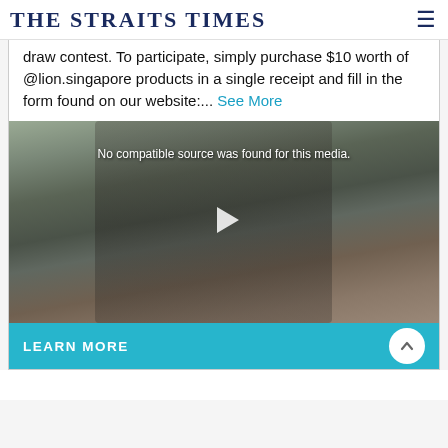THE STRAITS TIMES
draw contest. To participate, simply purchase $10 worth of @lion.singapore products in a single receipt and fill in the form found on our website:... See More
[Figure (screenshot): Video player showing a boy in school uniform, with 'No compatible source was found for this media.' overlay text and a play button in the center.]
LEARN MORE